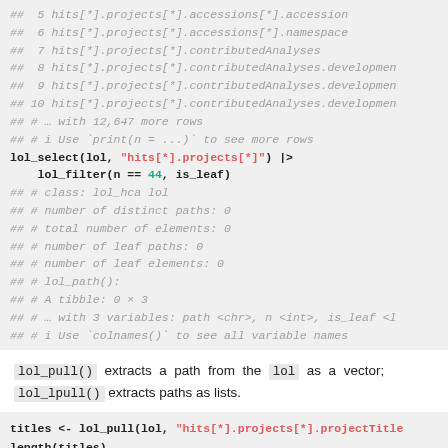## 5 hits[*].projects[*].accessions[*].accession
## 6 hits[*].projects[*].accessions[*].namespace
## 7 hits[*].projects[*].contributedAnalyses
## 8 hits[*].projects[*].contributedAnalyses.developmen
## 9 hits[*].projects[*].contributedAnalyses.developmen
## 10 hits[*].projects[*].contributedAnalyses.developmen
## # … with 12,647 more rows
## # i Use `print(n = ...)` to see more rows
lol_select(lol, "hits[*].projects[*]") |>
    lol_filter(n == 44, is_leaf)
## # class: lol_hca lol
## # number of distinct paths: 0
## # total number of elements: 0
## # number of leaf paths: 0
## # number of leaf elements: 0
## # lol_path():
## # A tibble: 0 × 3
## # … with 3 variables: path <chr>, n <int>, is_leaf <l
## # i Use `colnames()` to see all variable names
lol_pull() extracts a path from the lol as a vector; lol_lpull() extracts paths as lists.
titles <- lol_pull(lol, "hits[*].projects[*].projectTitle")
length(titles)
## [1] 200